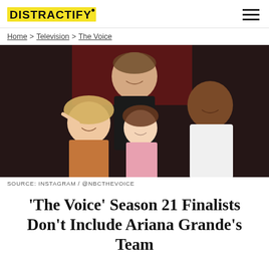DISTRACTIFY
Home > Television > The Voice
[Figure (photo): Group photo of The Voice Season 21 coaches: Blake Shelton (top center), John Legend (right), Kelly Clarkson (bottom left), and Ariana Grande (bottom center), posing together and smiling in front of a red stage background.]
SOURCE: INSTAGRAM / @NBCTHEVOICE
'The Voice' Season 21 Finalists Don't Include Ariana Grande's Team